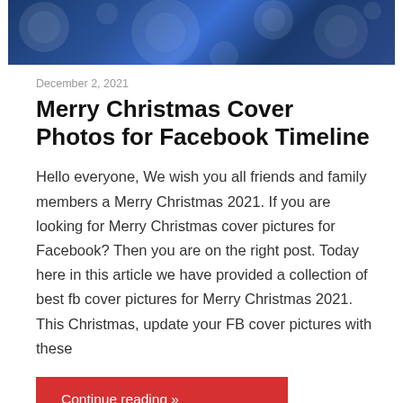[Figure (photo): Dark blue bokeh background image with Christmas/holiday theme, showing circular light orbs and decorative elements on a deep blue background]
December 2, 2021
Merry Christmas Cover Photos for Facebook Timeline
Hello everyone, We wish you all friends and family members a Merry Christmas 2021. If you are looking for Merry Christmas cover pictures for Facebook? Then you are on the right post. Today here in this article we have provided a collection of best fb cover pictures for Merry Christmas 2021. This Christmas, update your FB cover pictures with these
Continue reading »